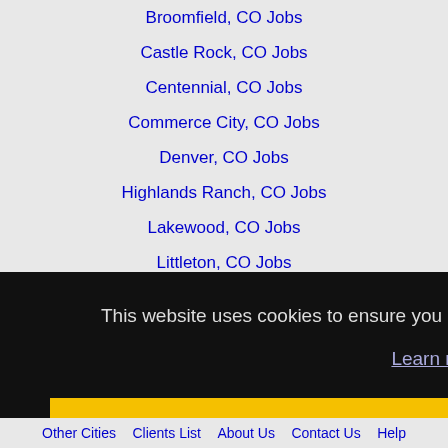Broomfield, CO Jobs
Castle Rock, CO Jobs
Centennial, CO Jobs
Commerce City, CO Jobs
Denver, CO Jobs
Highlands Ranch, CO Jobs
Lakewood, CO Jobs
Littleton, CO Jobs
Longmont, CO Jobs
Parker, CO Jobs
This website uses cookies to ensure you get the best experience on our website.
Learn more
Got it!
Other Cities  Clients List  About Us  Contact Us  Help